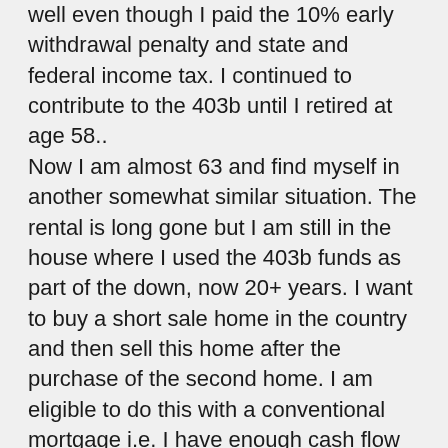well even though I paid the 10% early withdrawal penalty and state and federal income tax. I continued to contribute to the 403b until I retired at age 58.. Now I am almost 63 and find myself in another somewhat similar situation. The rental is long gone but I am still in the house where I used the 403b funds as part of the down, now 20+ years. I want to buy a short sale home in the country and then sell this home after the purchase of the second home. I am eligible to do this with a conventional mortgage i.e. I have enough cash flow to have two mortgages via my pension and systematic monthly distributions from my roll over IRA. (I am not drawing SS) Unfortunately my offer on the short sale is the second offer in line and will only succeed if the first buyers offer does not work out. They are